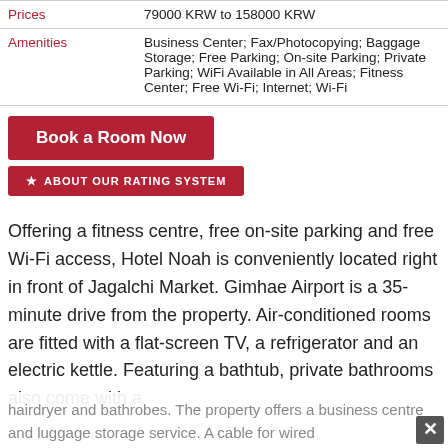|  |  |
| --- | --- |
| Prices | 79000 KRW to 158000 KRW |
| Amenities | Business Center; Fax/Photocopying; Baggage Storage; Free Parking; On-site Parking; Private Parking; WiFi Available in All Areas; Fitness Center; Free Wi-Fi; Internet; Wi-Fi |
Book a Room Now
★ ABOUT OUR RATING SYSTEM
Offering a fitness centre, free on-site parking and free Wi-Fi access, Hotel Noah is conveniently located right in front of Jagalchi Market. Gimhae Airport is a 35-minute drive from the property. Air-conditioned rooms are fitted with a flat-screen TV, a refrigerator and an electric kettle. Featuring a bathtub, private bathrooms also come with a
hairdryer and bathrobes. The property offers a business centre and luggage storage service. A cable for wired